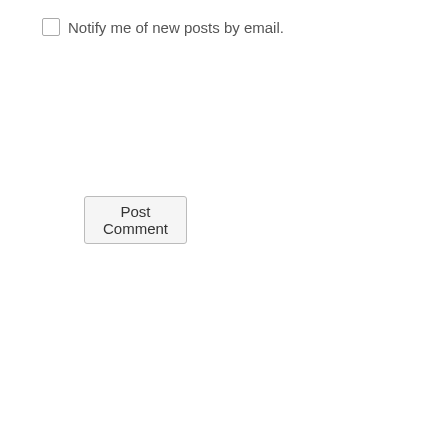Notify me of new posts by email.
Post Comment